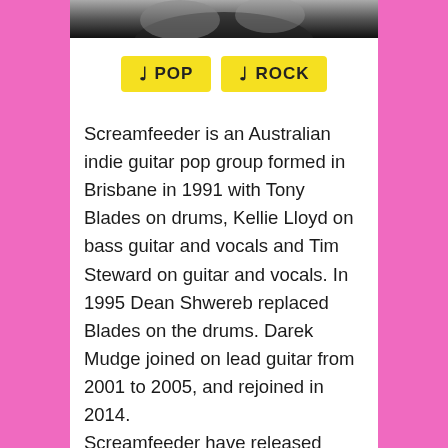[Figure (photo): Partial black and white photo visible at top of content area, cropped]
♩ POP   ♩ ROCK
Screamfeeder is an Australian indie guitar pop group formed in Brisbane in 1991 with Tony Blades on drums, Kellie Lloyd on bass guitar and vocals and Tim Steward on guitar and vocals. In 1995 Dean Shwereb replaced Blades on the drums. Darek Mudge joined on lead guitar from 2001 to 2005, and rejoined in 2014. Screamfeeder have released